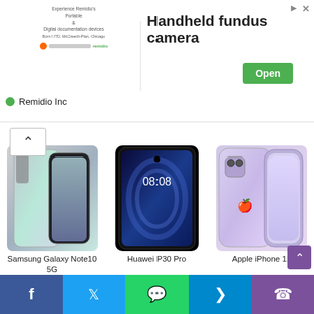[Figure (screenshot): Advertisement banner for Remidio Inc - Handheld fundus camera with Open button]
Remidio Inc
[Figure (photo): Samsung Galaxy Note10 5G smartphone product photo]
Samsung Galaxy Note10 5G
[Figure (photo): Huawei P30 Pro smartphone product photo]
Huawei P30 Pro
[Figure (photo): Apple iPhone 11 smartphone product photo]
Apple iPhone 11
[Figure (photo): Apple iPhone 11 Pro smartphone product photo]
[Figure (photo): Samsung Galaxy S10 smartphone product photo]
[Figure (photo): Another smartphone product photo with pop-up camera]